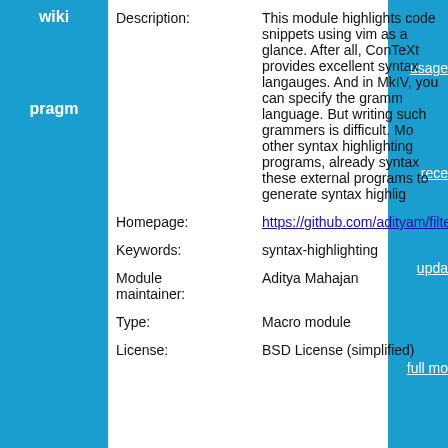wiki
pragm
usage
rece
upda
full mo
lis
regis
mem
sect
| Description: | This module highlights code snippets using vim as a glance. After all, ConTeXt provides excellent syntax langauges. And in MkIV, you can specify the gramm language. But writing such grammers is difficult. Mo other syntax highlighting programs, already syntax these external programs to generate syntax highlig |
| Homepage: | https://github.com/adityam/filter |
| Keywords: | syntax-highlighting |
| Module maintainer: | Aditya Mahajan |
| Type: | Macro module |
| License: | BSD License (simplified) |
ConTeXt Group: Modules